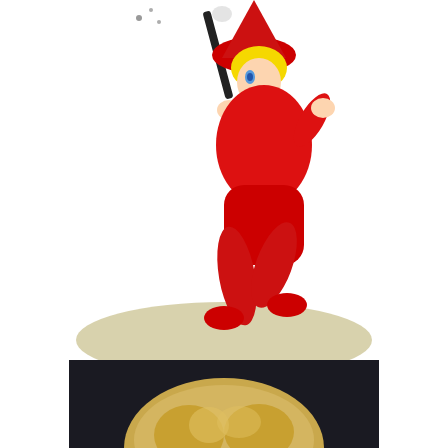[Figure (illustration): Cartoon character (Elspeth/Wendy-style child witch) dressed in a red outfit and pointed red hat, holding a black magic wand with sparkles, jumping/floating above a tan/olive colored shadow ellipse on the ground]
and some good as gold witches
[Figure (photo): Photo of a blonde person, cropped to show mostly the top of the head with blonde hair, photographed in a dark indoor setting]